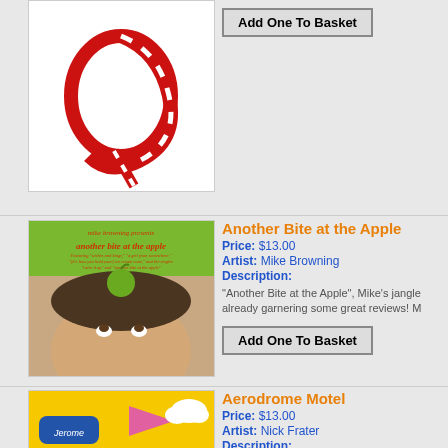[Figure (photo): Partial album cover with red candy cane or swirly design on white background]
Add One To Basket
[Figure (photo): Album cover for 'Another Bite at the Apple' by Mike Browning. Green background with text at top, man with green apple on his head looking up.]
Another Bite at the Apple
Price: $13.00
Artist: Mike Browning
Description:
“Another Bite at the Apple”, Mike’s jangle already garnering some great reviews! M
Add One To Basket
[Figure (photo): Partial album cover for 'Aerodrome Motel' by Nick Frater, yellow background with illustrated elements]
Aerodrome Motel
Price: $13.00
Artist: Nick Frater
Description:
Nick Frater’s “Aerodrome Motel” builds o